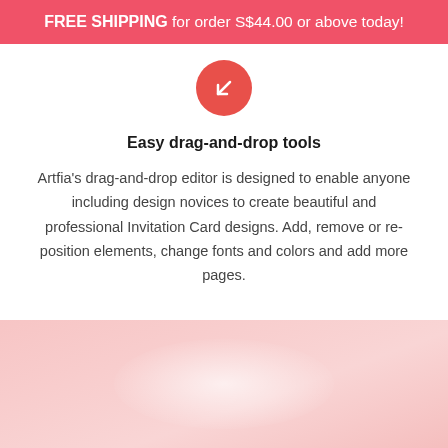FREE SHIPPING for order S$44.00 or above today!
[Figure (illustration): Red/coral circle with a white arrow icon pointing to lower-left (step 4 indicator)]
Easy drag-and-drop tools
Artfia's drag-and-drop editor is designed to enable anyone including design novices to create beautiful and professional Invitation Card designs. Add, remove or re-position elements, change fonts and colors and add more pages.
[Figure (illustration): Pink/light rose gradient background section at the bottom of the page with a soft white radial glow in the center]